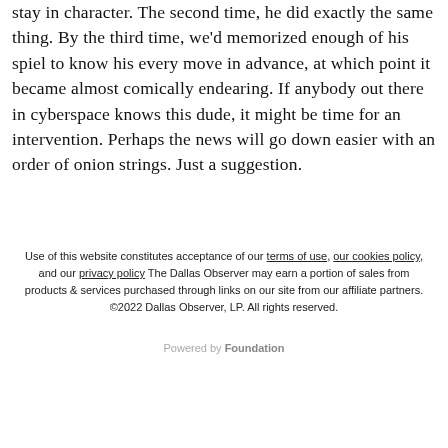stay in character. The second time, he did exactly the same thing. By the third time, we'd memorized enough of his spiel to know his every move in advance, at which point it became almost comically endearing. If anybody out there in cyberspace knows this dude, it might be time for an intervention. Perhaps the news will go down easier with an order of onion strings. Just a suggestion.
Use of this website constitutes acceptance of our terms of use, our cookies policy, and our privacy policy The Dallas Observer may earn a portion of sales from products & services purchased through links on our site from our affiliate partners. ©2022 Dallas Observer, LP. All rights reserved.
Powered by Foundation